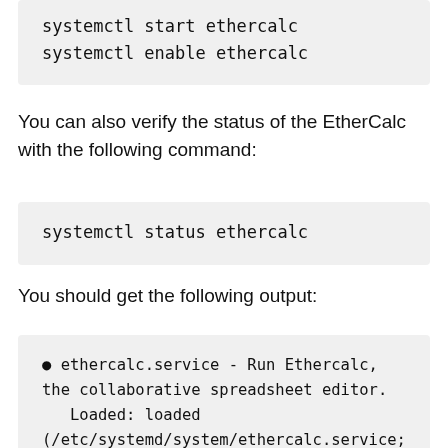systemctl start ethercalc
systemctl enable ethercalc
You can also verify the status of the EtherCalc with the following command:
systemctl status ethercalc
You should get the following output:
● ethercalc.service - Run Ethercalc, the collaborative spreadsheet editor.
   Loaded: loaded (/etc/systemd/system/ethercalc.service; enabled; vendor preset: disabled)
   Active: active (running) since Sun 2020-11-15 03:08:03 EST; 5s ago